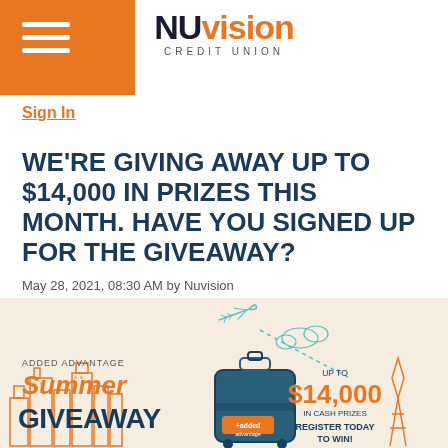Nuvision Credit Union
Sign In
WE'RE GIVING AWAY UP TO $14,000 IN PRIZES THIS MONTH. HAVE YOU SIGNED UP FOR THE GIVEAWAY?
May 28, 2021, 08:30 AM by Nuvision
[Figure (illustration): Added Advantage Summer Giveaway promotional banner showing a suitcase with city skyline silhouette, airplane, and text 'UP TO $14,000 IN CASH PRIZES - REGISTER TODAY TO WIN!']